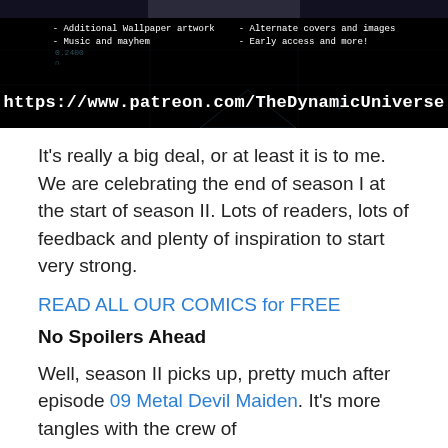[Figure (screenshot): Dark banner image with Patreon promotion. Lists bullet points: '- Additional Wallpaper artwork', '- Music and mayhem', '- Alternate covers and images', '- Early access and more!' with URL https://www.patreon.com/TheDynamicUniverse]
It's really a big deal, or at least it is to me. We are celebrating the end of season I at the start of season II. Lots of readers, lots of feedback and plenty of inspiration to start very strong.
READ ALL OUR COMICS for FREE
No Spoilers Ahead
Well, season II picks up, pretty much after episode 09 Metal Devil Maiden. It's more tangles with the crew of